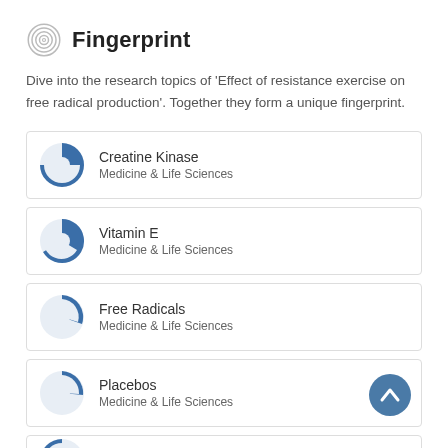Fingerprint
Dive into the research topics of 'Effect of resistance exercise on free radical production'. Together they form a unique fingerprint.
Creatine Kinase — Medicine & Life Sciences
Vitamin E — Medicine & Life Sciences
Free Radicals — Medicine & Life Sciences
Placebos — Medicine & Life Sciences
Malondialdehyde